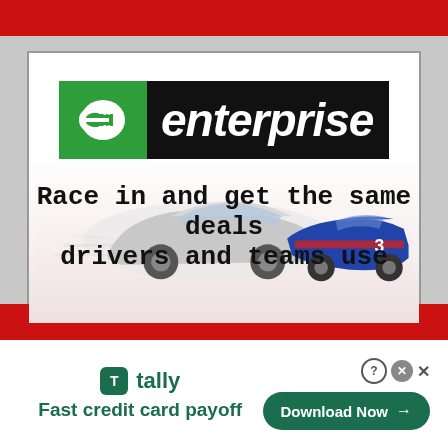[Figure (illustration): Enterprise Rent-A-Car advertisement featuring the Enterprise logo (green square with stylized 'e' next to 'enterprise' text in white on black background), a background image of NASCAR racing cars, and the tagline 'Race in and get the same deals drivers and teams use']
Race in and get the same deals drivers and teams use
[Figure (illustration): Tally app advertisement with Tally logo (green rounded square with 'T'), 'tally' text in green, tagline 'Fast credit card payoff', and a green 'Download Now →' button with close/help icons]